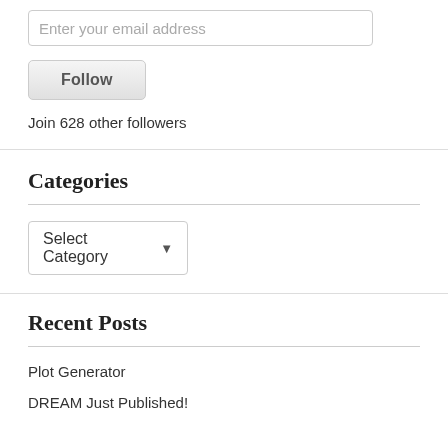Enter your email address
Follow
Join 628 other followers
Categories
Select Category
Recent Posts
Plot Generator
DREAM Just Published!